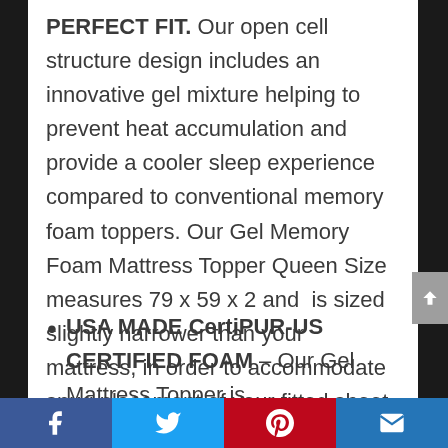PERFECT FIT. Our open cell structure design includes an innovative gel mixture helping to prevent heat accumulation and provide a cooler sleep experience compared to conventional memory foam toppers. Our Gel Memory Foam Mattress Topper Queen Size measures 79 x 59 x 2 and is sized slightly narrower than your mattress, in order to accommodate snug placement of your fitted sheet.
USA MADE CertiPUR-US CERTIFIED FOAM – Our Gel Mattress Topper is